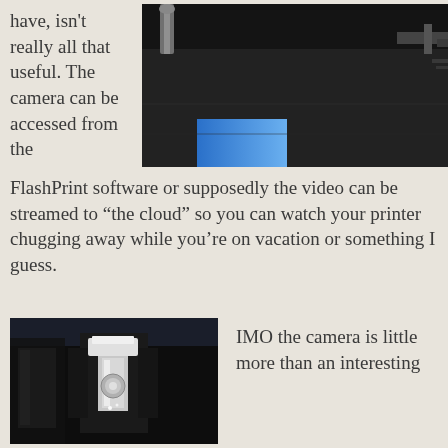have, isn't really all that useful. The camera can be accessed from the
[Figure (photo): Close-up photo of a 3D printer bed/build platform showing dark surface with a blue object and metallic screw components in top area]
FlashPrint software or supposedly the video can be streamed to “the cloud” so you can watch your printer chugging away while you’re on vacation or something I guess.
[Figure (photo): Photo of 3D printer interior showing dark chamber with illuminated metallic print head/extruder components visible]
IMO the camera is little more than an interesting